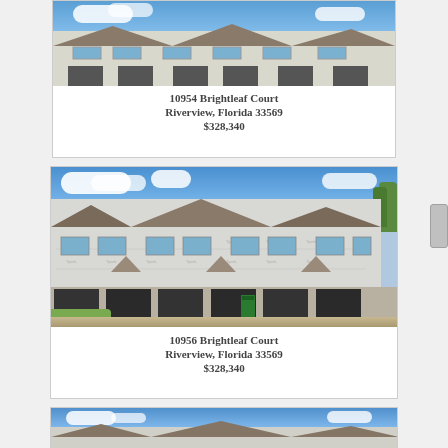[Figure (photo): Exterior photo of townhouse under construction at 10954 Brightleaf Court — building wrapped in house wrap, showing multi-unit townhome row]
10954 Brightleaf Court
Riverview, Florida 33569
$328,340
[Figure (photo): Exterior photo of townhouse under construction at 10956 Brightleaf Court — multi-unit townhome row with Tyvek house wrap, open garage bays, construction underway]
10956 Brightleaf Court
Riverview, Florida 33569
$328,340
[Figure (photo): Partial exterior photo of another townhouse unit under construction — top portion visible showing blue sky and building facade]